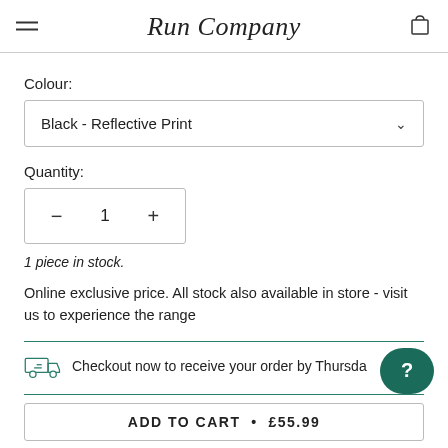Run Company
Colour:
Black - Reflective Print
Quantity:
1
1 piece in stock.
Online exclusive price. All stock also available in store - visit us to experience the range
Checkout now to receive your order by Thursday
ADD TO CART • £55.99